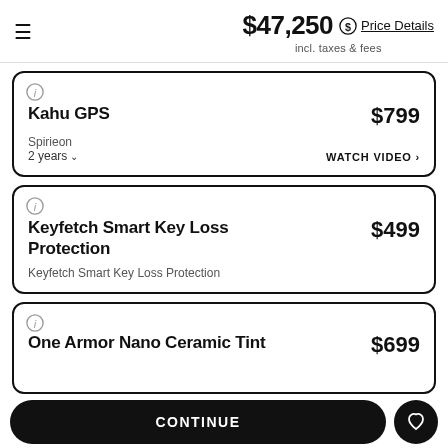$47,250 incl. taxes & fees | Price Details
Kahu GPS | $799 | Spirieon | 2 years | WATCH VIDEO
Keyfetch Smart Key Loss Protection | $499 | Keyfetch Smart Key Loss Protection
One Armor Nano Ceramic Tint | $699
CONTINUE